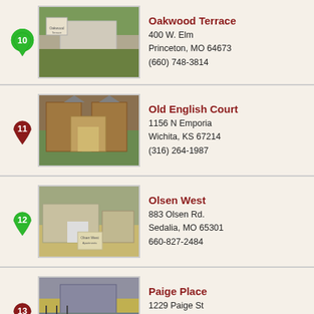10 | Oakwood Terrace | 400 W. Elm | Princeton, MO 64673 | (660) 748-3814
11 | Old English Court | 1156 N Emporia | Wichita, KS 67214 | (316) 264-1987
12 | Olsen West | 883 Olsen Rd. | Sedalia, MO 65301 | 660-827-2484
13 | Paige Place | 1229 Paige St | Wichita, KS 67207 | (316) 440-7954